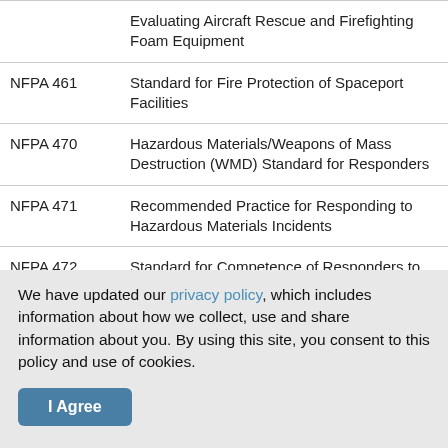| Code | Description |
| --- | --- |
|  | Evaluating Aircraft Rescue and Firefighting Foam Equipment |
| NFPA 461 | Standard for Fire Protection of Spaceport Facilities |
| NFPA 470 | Hazardous Materials/Weapons of Mass Destruction (WMD) Standard for Responders |
| NFPA 471 | Recommended Practice for Responding to Hazardous Materials Incidents |
| NFPA 472 | Standard for Competence of Responders to Hazardous Materials/Weapons of Mass |
We have updated our privacy policy, which includes information about how we collect, use and share information about you. By using this site, you consent to this policy and use of cookies.
I Agree